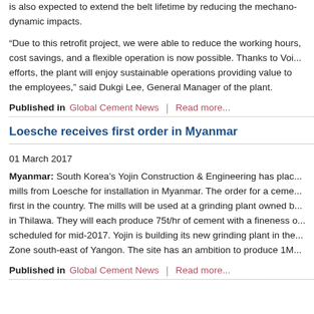is also expected to extend the belt lifetime by reducing the mechanical dynamic impacts.
“Due to this retrofit project, we were able to reduce the working hours, cost savings, and a flexible operation is now possible. Thanks to Voith’s efforts, the plant will enjoy sustainable operations providing value to the employees,” said Dukgi Lee, General Manager of the plant.
Published in Global Cement News | Read more...
Loesche receives first order in Myanmar
01 March 2017
Myanmar: South Korea’s Yojin Construction & Engineering has placed an order for mills from Loesche for installation in Myanmar. The order for a cement mill will be a first in the country. The mills will be used at a grinding plant owned by the company in Thilawa. They will each produce 75t/hr of cement with a fineness of delivery scheduled for mid-2017. Yojin is building its new grinding plant in the Thilawa Special Zone south-east of Yangon. The site has an ambition to produce 1M
Published in Global Cement News | Read more...